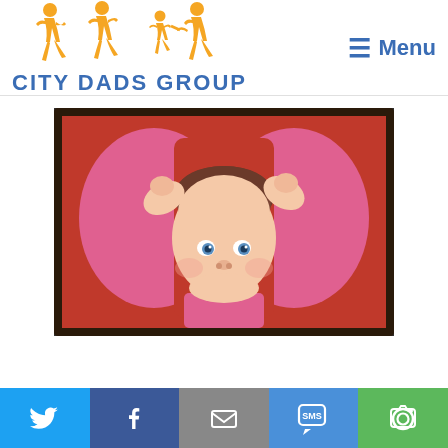[Figure (logo): City Dads Group logo with orange silhouettes of adults and child running/walking, and blue bold text 'CITY DADS GROUP']
[Figure (photo): Baby/toddler in pink clothing lying on red surface, looking up at camera with hands near head, dark brown frame border]
Social sharing bar with Twitter, Facebook, Email, SMS, and Camera icons